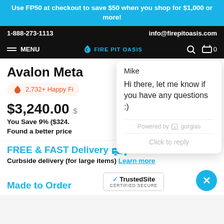Use FP50 at checkout to save $50 when you shop for $1,000 or more!
1-888-273-1113   info@firepitoasis.com
MENU  FIRE PIT OASIS  0
Avalon Meta
2,732+ Happy Fi
$3,240.00
You Save 9% ($324.
Found a better price
[Figure (screenshot): Chat popup with agent Mike saying 'Hi there, let me know if you have any questions :)'. Powered by Gorgias. Click to reply input.]
FREE & FAST Delivery
Curbside delivery (for large items) Learn more
Made to Order
[Figure (logo): TrustedSite CERTIFIED SECURE badge]